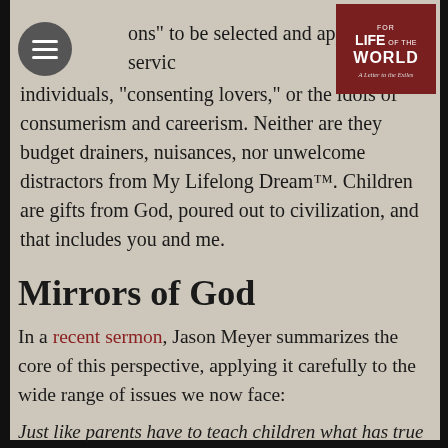ons" to be selected and applied in the service of individuals, "consenting lovers," or the idols of consumerism and careerism. Neither are they budget drainers, nuisances, nor unwelcome distractors from My Lifelong Dream™. Children are gifts from God, poured out to civilization, and that includes you and me.
Mirrors of God
In a recent sermon, Jason Meyer summarizes the core of this perspective, applying it carefully to the wide range of issues we now face:
Just like parents have to teach children what has true worth, our heavenly Father has to teach us. God alone can teach us because he alone is the gold standard. God is infinitely valuable, which means we measure worth in relation to God. Animals have value because